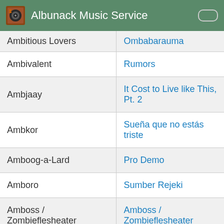Albunack Music Service
| Artist | Album |
| --- | --- |
| Ambitious Lovers | Ombabarauma |
| Ambivalent | Rumors |
| Ambjaay | It Cost to Live like This, Pt. 2 |
| Ambkor | Sueña que no estás triste |
| Amboog-a-Lard | Pro Demo |
| Amboro | Sumber Rejeki |
| Amboss / Zombieflesheater | Amboss / Zombieflesheater |